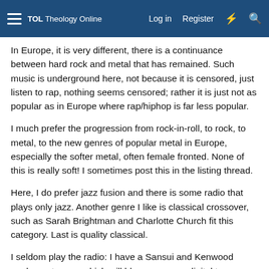TOL Theology Online | Log in | Register
In Europe, it is very different, there is a continuance between hard rock and metal that has remained. Such music is underground here, not because it is censored, just listen to rap, nothing seems censored; rather it is just not as popular as in Europe where rap/hiphop is far less popular.
I much prefer the progression from rock-in-roll, to rock, to metal, to the new genres of popular metal in Europe, especially the softer metal, often female fronted. None of this is really soft! I sometimes post this in the listing thread.
Here, I do prefer jazz fusion and there is some radio that plays only jazz. Another genre I like is classical crossover, such as Sarah Brightman and Charlotte Church fit this category. Last is quality classical.
I seldom play the radio: I have a Sansui and Kenwood analogue tuners, which will blow away any digital tuner ever made, but the commercials are to anxious and loud for me at this time in life.